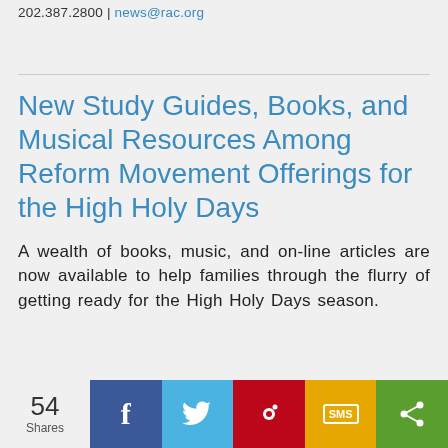202.387.2800 | news@rac.org
New Study Guides, Books, and Musical Resources Among Reform Movement Offerings for the High Holy Days
A wealth of books, music, and on-line articles are now available to help families through the flurry of getting ready for the High Holy Days season.
54 Shares